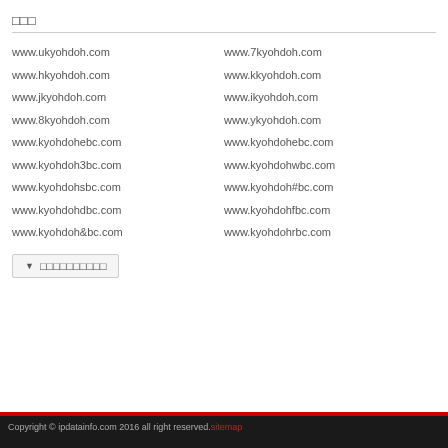□□□
www.ukyohdoh.com
www.hkyohdoh.com
www.jkyohdoh.com
www.8kyohdoh.com
www.kyohdohebc.com
www.kyohdoh3bc.com
www.kyohdohsbc.com
www.kyohdohdbc.com
www.kyohdoh&bc.com
www.7kyohdoh.com
www.kkyohdoh.com
www.ikyohdoh.com
www.ykyohdoh.com
www.kyohdohebc.com
www.kyohdohwbc.com
www.kyohdoh#bc.com
www.kyohdohfbc.com
www.kyohdohrbc.com
Copyright © ipdatainfo.com 2016 all right reserved. sitemap